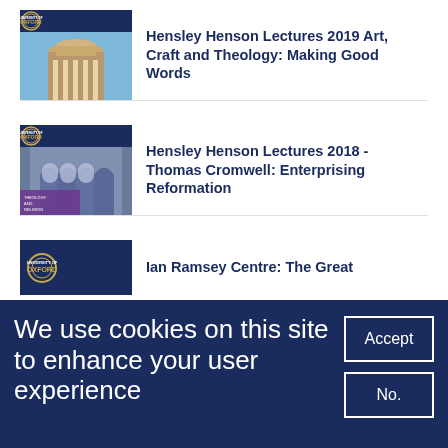[Figure (screenshot): University of Oxford logo with dome building photo thumbnail]
Hensley Henson Lectures 2019 Art, Craft and Theology: Making Good Words
[Figure (screenshot): University of Oxford logo with cathedral interior photo thumbnail]
Hensley Henson Lectures 2018 - Thomas Cromwell: Enterprising Reformation
[Figure (screenshot): University of Oxford logo thumbnail]
Ian Ramsey Centre: The Great
We use cookies on this site to enhance your user experience
Accept
No.